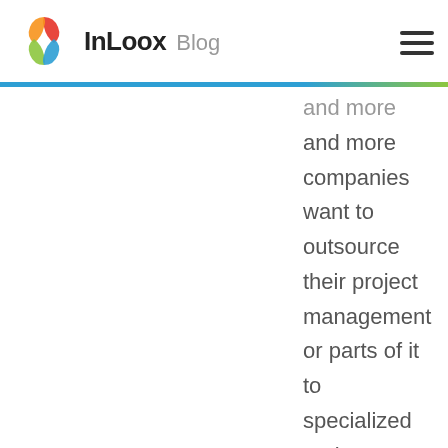InLoox Blog
and more companies want to outsource their project management or parts of it to specialized project service providers.